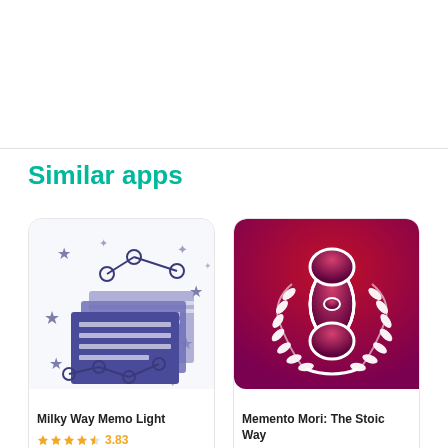Similar apps
[Figure (screenshot): App icon for Milky Way Memo Light: dark blue/purple stacked document pages with stars and a connected line graph on a white background]
Milky Way Memo Light
3.83
[Figure (screenshot): App icon for Memento Mori: The Stoic Way: red/crimson gradient background with a white infinity/hourglass symbol and laurel wreath]
Memento Mori: The Stoic Way
4.44